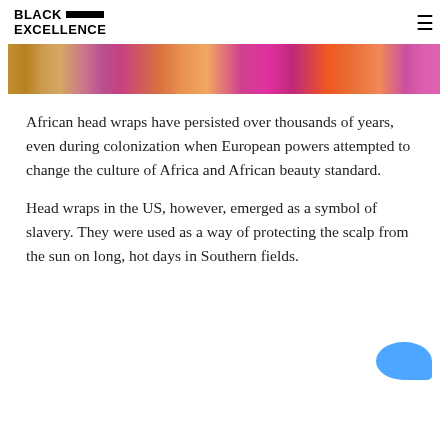BLACK EXCELLENCE
[Figure (photo): Cropped photo showing women wearing colorful African head wraps and clothing in pink, orange, and patterned fabric]
African head wraps have persisted over thousands of years, even during colonization when European powers attempted to change the culture of Africa and African beauty standard.
Head wraps in the US, however, emerged as a symbol of slavery. They were used as a way of protecting the scalp from the sun on long, hot days in Southern fields.